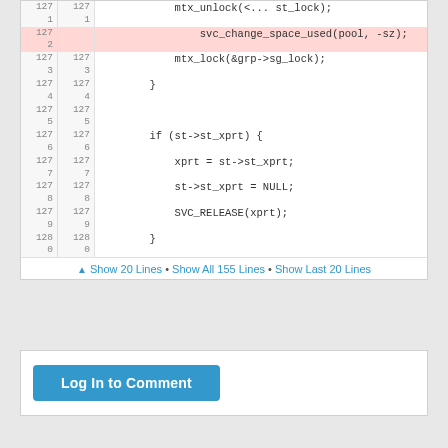[Figure (screenshot): Code diff viewer showing lines 1272 through 1280. Line 1272 is highlighted in red (deleted): svc_change_space_used(pool, -sz); Other lines show: mtx_lock(&grp->sg_lock); } (blank) if (st->st_xprt) { xprt = st->st_xprt; st->st_xprt = NULL; SVC_RELEASE(xprt); } with line numbers on left and right.]
▲ Show 20 Lines • Show All 155 Lines • Show Last 20 Lines
Log In to Comment